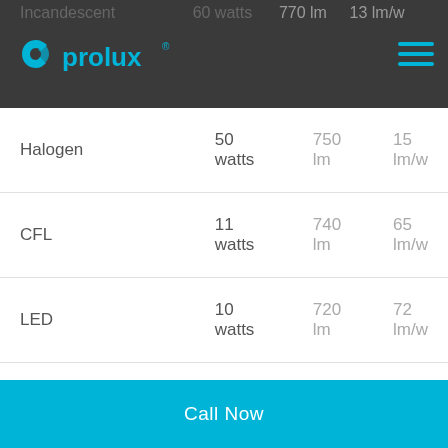prolux
| Type | Watts | Lumens | Efficacy |
| --- | --- | --- | --- |
| Incandescent | 60 watts | 770 lm | 13 lm/w |
| Halogen | 50 watts | 750 lm | 15 lm/w |
| CFL | 11 watts | 740 lm | 65 lm/w |
| LED | 10 watts | 720 lm | 72 lm/w |
A Comparison of Light Types. Table from Lighting Matters – Lumens, Lux & Efficacy; 2017.
(Luminous efficacy is a measure of how well a light source produces visible light. It is the ratio of luminous flux to power, measured in lumens per watt in SI).
Call Now